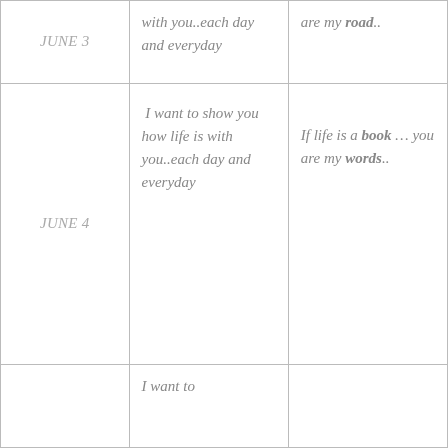| Date | Poem | Quote |
| --- | --- | --- |
| JUNE 3 | with you..each day and everyday | are my road.. |
| JUNE 4 | I want to show you how life is with you..each day and everyday | If life is a book … you are my words.. |
|  | I want to |  |